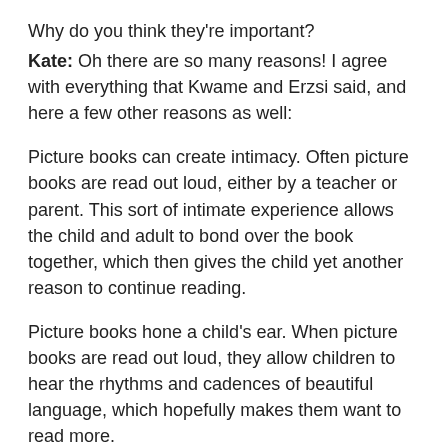Why do you think they're important?
Kate: Oh there are so many reasons! I agree with everything that Kwame and Erzsi said, and here a few other reasons as well:
Picture books can create intimacy. Often picture books are read out loud, either by a teacher or parent. This sort of intimate experience allows the child and adult to bond over the book together, which then gives the child yet another reason to continue reading.
Picture books hone a child's ear. When picture books are read out loud, they allow children to hear the rhythms and cadences of beautiful language, which hopefully makes them want to read more.
Picture books are good for the brain. The child who is